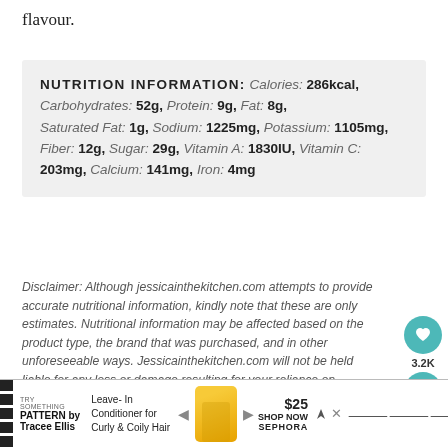flavour.
| NUTRITION INFORMATION |
| --- |
| Calories: 286kcal, Carbohydrates: 52g, Protein: 9g, Fat: 8g, Saturated Fat: 1g, Sodium: 1225mg, Potassium: 1105mg, Fiber: 12g, Sugar: 29g, Vitamin A: 1830IU, Vitamin C: 203mg, Calcium: 141mg, Iron: 4mg |
Disclaimer: Although jessicainthekitchen.com attempts to provide accurate nutritional information, kindly note that these are only estimates. Nutritional information may be affected based on the product type, the brand that was purchased, and in other unforeseeable ways. Jessicainthekitchen.com will not be held liable for any loss or damage resulting for your reliance on nutritional information. If you need to follow a specific caloric regimen, please consult your doctor first.
[Figure (infographic): Social action buttons: heart/like button showing 3.2K, and a share button, both in teal color]
[Figure (infographic): Advertisement banner for PATTERN by Tracee Ellis - Leave-In Conditioner for Curly & Coily Hair, $25, SHOP NOW SEPHORA]